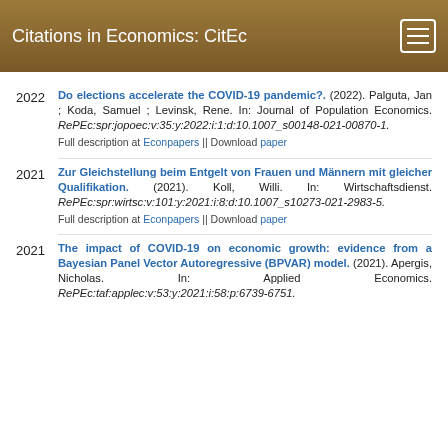Citations in Economics: CitEc
Do elections accelerate the COVID-19 pandemic?. (2022). Palguta, Jan ; Koda, Samuel ; Levinsk, Rene. In: Journal of Population Economics. RePEc:spr:jopoec:v:35:y:2022:i:1:d:10.1007_s00148-021-00870-1. Full description at Econpapers || Download paper
Zur Gleichstellung beim Entgelt von Frauen und Männern mit gleicher Qualifikation. (2021). Koll, Willi. In: Wirtschaftsdienst. RePEc:spr:wirtsc:v:101:y:2021:i:8:d:10.1007_s10273-021-2983-5. Full description at Econpapers || Download paper
The impact of COVID-19 on economic growth: evidence from a Bayesian Panel Vector Autoregressive (BPVAR) model. (2021). Apergis, Nicholas. In: Applied Economics. RePEc:taf:applec:v:53:y:2021:i:58:p:6739-6751.